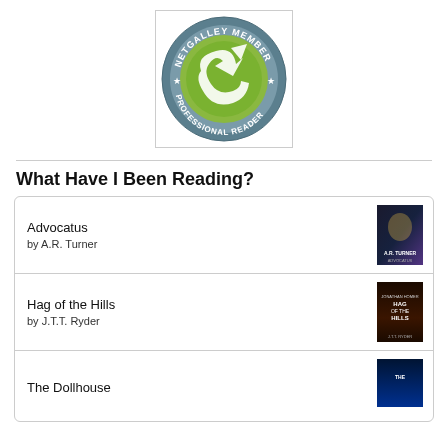[Figure (logo): NetGalley Member Professional Reader circular badge/logo with green and grey colors, featuring a stylized arrow graphic in the center]
What Have I Been Reading?
Advocatus by A.R. Turner
Hag of the Hills by J.T.T. Ryder
The Dollhouse